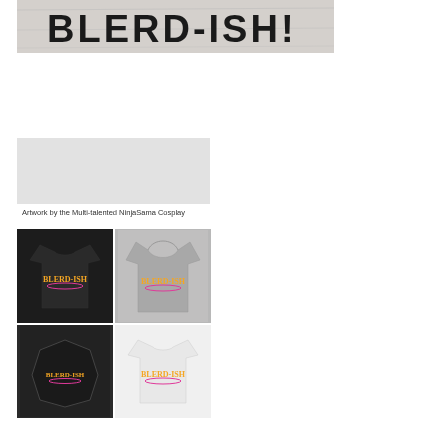[Figure (photo): Close-up of a fabric or banner with bold text reading BLERD-ISH! in large dark letters on a light background]
[Figure (photo): Light gray blank/placeholder image area]
Artwork by the Multi-talented NinjaSama Cosplay
[Figure (photo): 2x2 grid of merchandise photos: black t-shirt with BLERD-ISH logo, gray hoodie with BLERD-ISH logo, black hat/patch with BLERD-ISH logo, white t-shirt with BLERD-ISH logo]